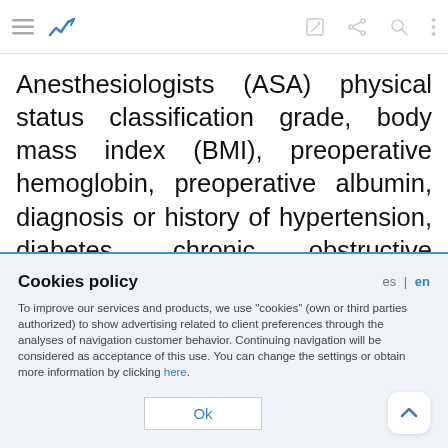[Figure (screenshot): Mobile app navigation bar with hamburger menu, blue chart icon, edit icon, share icon, search icon, and vertical dots menu]
Anesthesiologists (ASA) physical status classification grade, body mass index (BMI), preoperative hemoglobin, preoperative albumin, diagnosis or history of hypertension, diabetes, chronic obstructive pulmonary disease (COPD), coronary heart disease, and heart failure were analyzed. No patient received neoadjuvant chemotherapy, which was only available
Cookies policy
es | en
To improve our services and products, we use "cookies" (own or third parties authorized) to show advertising related to client preferences through the analyses of navigation customer behavior. Continuing navigation will be considered as acceptance of this use. You can change the settings or obtain more information by clicking here.
Ok